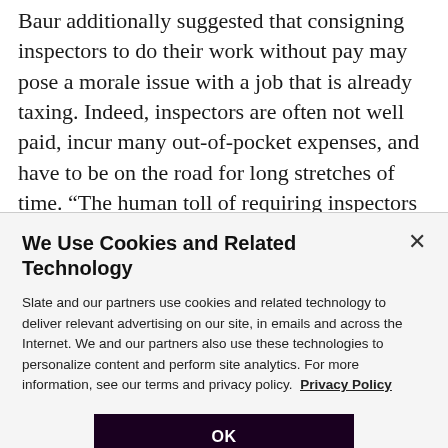Baur additionally suggested that consigning inspectors to do their work without pay may pose a morale issue with a job that is already taxing. Indeed, inspectors are often not well paid, incur many out-of-pocket expenses, and have to be on the road for long stretches of time. “The human toll of requiring inspectors to work without getting paid raises real public safety questions,” says Baur. “How long are they going to be able to do their jobs well under those pretty horrendous working
[Figure (screenshot): Cookie consent modal overlay with title 'We Use Cookies and Related Technology', body text about Slate and partners using cookies, a Privacy Policy link, and an OK button.]